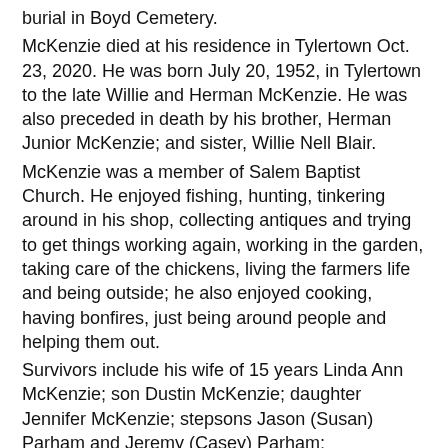burial in Boyd Cemetery.
McKenzie died at his residence in Tylertown Oct. 23, 2020. He was born July 20, 1952, in Tylertown to the late Willie and Herman McKenzie. He was also preceded in death by his brother, Herman Junior McKenzie; and sister, Willie Nell Blair.
McKenzie was a member of Salem Baptist Church. He enjoyed fishing, hunting, tinkering around in his shop, collecting antiques and trying to get things working again, working in the garden, taking care of the chickens, living the farmers life and being outside; he also enjoyed cooking, having bonfires, just being around people and helping them out.
Survivors include his wife of 15 years Linda Ann McKenzie; son Dustin McKenzie; daughter Jennifer McKenzie; stepsons Jason (Susan) Parham and Jeremy (Casey) Parham; stepdaughter Amy (Jason) Bourgeois; one grandchild; 10 step grandchildren; brother, Odell McKenzie.
Pallbearers were Nelson McKenzie, Mike McKenzie, Ethan Martin, Matthew McKenzie, Gary Stewart, and David McDaniel. Honorary pallbearers were Kriss Dunaway, Albert Lowery, and Todd Duncan.
Capps Funeral Home was in charge of the arrangements. Family and friends may sign an online guestbook at